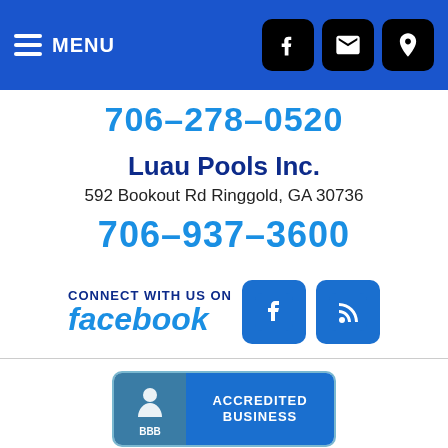MENU navigation bar with phone, email, and location icons
706-278-0520
Luau Pools Inc.
592 Bookout Rd Ringgold, GA 30736
706-937-3600
[Figure (logo): Connect with us on Facebook logo with Facebook icon and RSS feed icon]
[Figure (logo): BBB Accredited Business badge with BBB logo on teal/blue background]